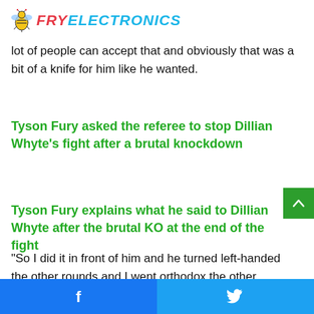FRY ELECTRONICS
lot of people can accept that and obviously that was a bit of a knife for him like he wanted.
Tyson Fury asked the referee to stop Dillian Whyte’s fight after a brutal knockdown
Tyson Fury explains what he said to Dillian Whyte after the brutal KO at the end of the fight
“So I did it in front of him and he turned left-handed the other rounds and I went orthodox the other rounds. That’s how it
Facebook | Twitter